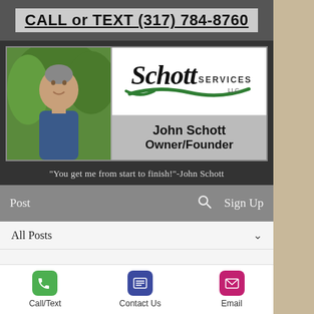CALL or TEXT (317) 784-8760
[Figure (photo): Profile photo of John Schott, a middle-aged man smiling outdoors with green foliage background]
[Figure (logo): Schott Services LLC logo in black cursive script with green swoosh accent]
John Schott
Owner/Founder
"You get me from start to finish!"-John Schott
Post
Sign Up
All Posts
John Schott
Call/Text
Contact Us
Email